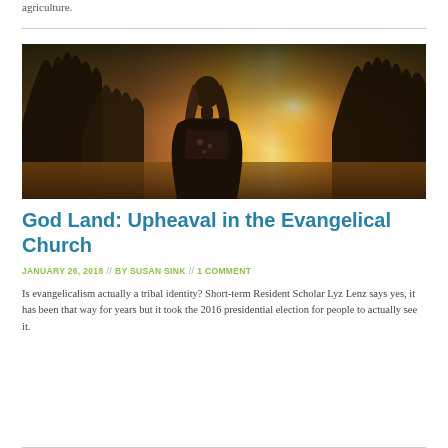agriculture.
[Figure (photo): A person seen from behind with long hair, silhouetted against a bright golden sunset with warm light and trees in the background.]
God Land: Upheaval in the Evangelical Church
JANUARY 26, 2018  //  BY SUSAN SINK  //  1 COMMENT
Is evangelicalism actually a tribal identity? Short-term Resident Scholar Lyz Lenz says yes, it has been that way for years but it took the 2016 presidential election for people to actually see it.